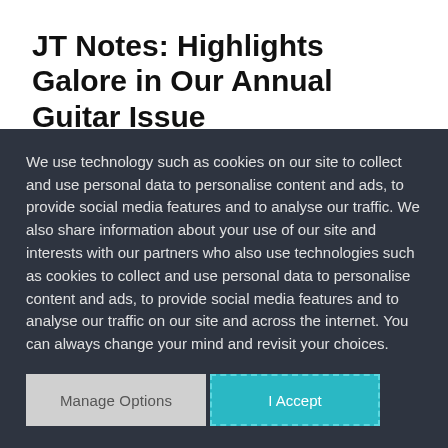JT Notes: Highlights Galore in Our Annual Guitar Issue
Forgive me if I've mentioned this before (perhaps repeatedly), but I've been playing guitar now for more than 40 years. So when
We use technology such as cookies on our site to collect and use personal data to personalise content and ads, to provide social media features and to analyse our traffic. We also share information about your use of our site and interests with our partners who also use technologies such as cookies to collect and use personal data to personalise content and ads, to provide social media features and to analyse our traffic on our site and across the internet. You can always change your mind and revisit your choices.
Manage Options
I Accept